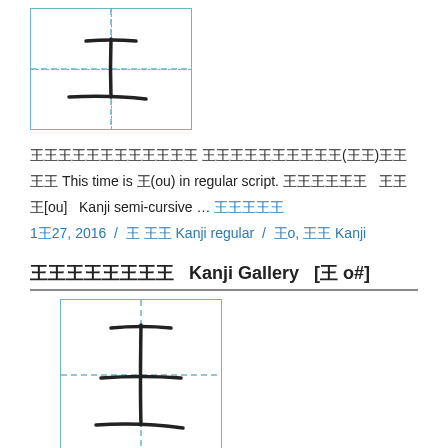[Figure (illustration): Kanji character drawn in a grid box with dashed center lines, showing 土 character]
王王王王王王王王王王王王 王王王王王王王王王王(王王)王王王王 This time is 王(ou) in regular script. 王王王王王王 王王 王[ou] Kanji semi-cursive … 王王王王王
1王27, 2016 / 王 王王 Kanji regular / 王o, 王王 Kanji
王王王王王王王王 Kanji Gallery [王 o#]
[Figure (illustration): Kanji character 王 drawn in a grid box with dashed center lines]